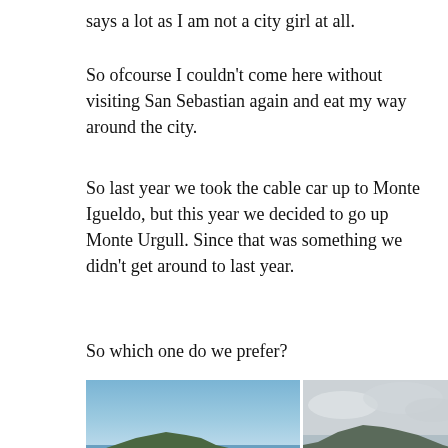says a lot as I am not a city girl at all.
So ofcourse I couldn’t come here without visiting San Sebastian again and eat my way around the city.
So last year we took the cable car up to Monte Igueldo, but this year we decided to go up Monte Urgull. Since that was something we didn’t get around to last year.
So which one do we prefer?
[Figure (photo): Two side-by-side landscape photos showing mountain/hill views with coastline. Left photo shows a clear blue sky with a green hill and beach. Right photo shows a cloudy sky with a similar hill silhouette.]